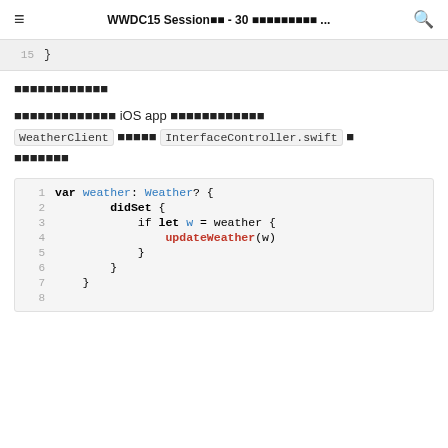≡  WWDC15 Session⬛⬛ - 30 ⬛⬛⬛⬛⬛⬛⬛⬛⬛ ...  🔍
[Figure (screenshot): Code block showing line 15 with closing brace on gray background]
⬛⬛⬛⬛⬛⬛⬛⬛⬛⬛⬛⬛
⬛⬛⬛⬛⬛⬛⬛⬛⬛⬛⬛⬛⬛ iOS app ⬛⬛⬛⬛⬛⬛⬛⬛⬛⬛⬛⬛ WeatherClient ⬛⬛⬛⬛⬛ InterfaceController.swift ⬛ ⬛⬛⬛⬛⬛⬛⬛
[Figure (screenshot): Swift code block showing var weather: Weather? property with didSet observer calling updateWeather(w), lines 1-8]